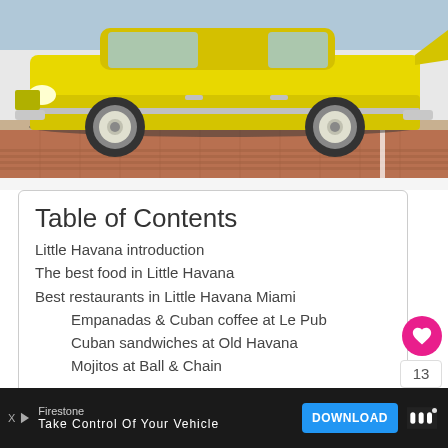[Figure (photo): A yellow classic vintage car (1950s sedan) parked on a brick/paved surface, photographed from the side. The car has white wall tires, chrome details, and distinctive 1950s styling.]
Table of Contents
Little Havana introduction
The best food in Little Havana
Best restaurants in Little Havana Miami
Empanadas & Cuban coffee at Le Pub
Cuban sandwiches at Old Havana
Mojitos at Ball & Chain
Firestone
Take Control Of Your Vehicle
DOWNLOAD